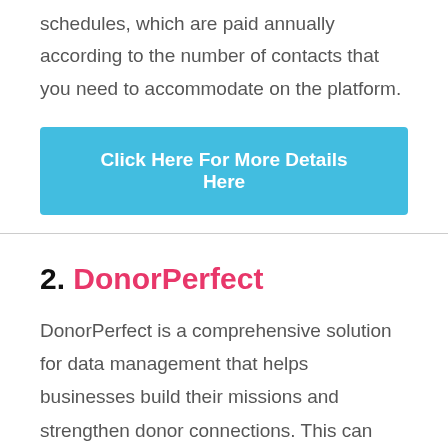schedules, which are paid annually according to the number of contacts that you need to accommodate on the platform.
[Figure (other): Blue button labeled 'Click Here For More Details Here']
2. DonorPerfect
DonorPerfect is a comprehensive solution for data management that helps businesses build their missions and strengthen donor connections. This can decrease hundreds of administrative hours for organizations by providing donor management tools, personalized communication options, volunteer